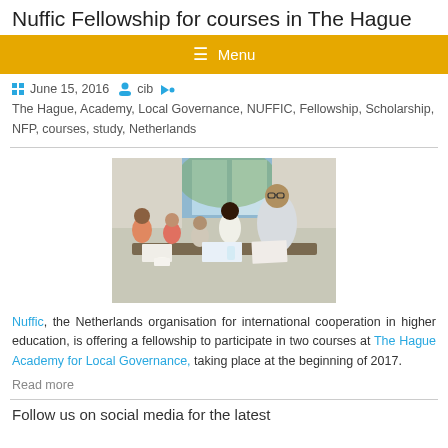Nuffic Fellowship for courses in The Hague
Menu
June 15, 2016   cib
The Hague, Academy, Local Governance, NUFFIC, Fellowship, Scholarship, NFP, courses, study, Netherlands
[Figure (photo): Group of people sitting around a conference table in a bright room, appearing to be in a training or workshop setting. Several participants visible, with papers on the table.]
Nuffic, the Netherlands organisation for international cooperation in higher education, is offering a fellowship to participate in two courses at The Hague Academy for Local Governance, taking place at the beginning of 2017.
Read more
Follow us on social media for the latest